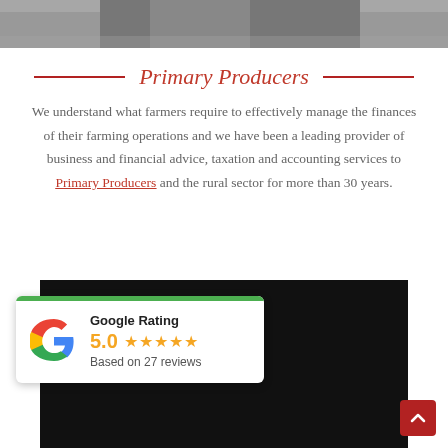[Figure (photo): Black and white photo strip at top of page, showing partial view of person]
Primary Producers
We understand what farmers require to effectively manage the finances of their farming operations and we have been a leading provider of business and financial advice, taxation and accounting services to Primary Producers and the rural sector for more than 30 years.
[Figure (screenshot): Google Rating widget showing 5.0 stars based on 27 reviews, overlaid on dark video background]